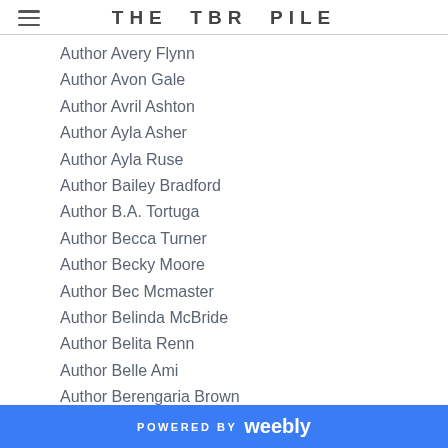THE TBR PILE
Author Avery Flynn
Author Avon Gale
Author Avril Ashton
Author Ayla Asher
Author Ayla Ruse
Author Bailey Bradford
Author B.A. Tortuga
Author Becca Turner
Author Becky Moore
Author Bec Mcmaster
Author Belinda McBride
Author Belita Renn
Author Belle Ami
Author Berengaria Brown
Author Bethany Kris
Author Bethany-Kris
Author Bethany Michaels
POWERED BY weebly